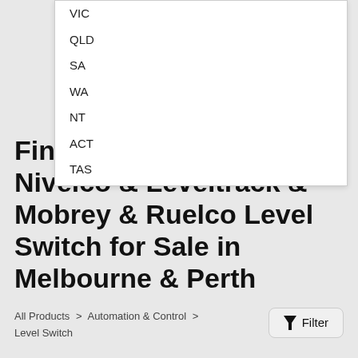VIC
QLD
SA
WA
NT
ACT
TAS
Find a Delta-Mobrey & Nivelco & Leveltrack & Mobrey & Ruelco Level Switch for Sale in Melbourne & Perth
All Products > Automation & Control > Level Switch
Filter by brand: ZHYQ (7) Ruelco (2) All